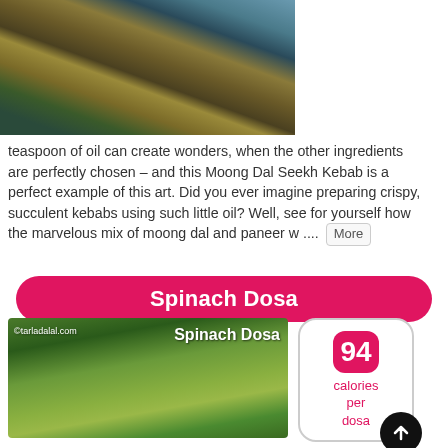[Figure (photo): Photo of Moong Dal Seekh Kebab on a dark tray with green chutney, on a blue wooden surface]
teaspoon of oil can create wonders, when the other ingredients are perfectly chosen – and this Moong Dal Seekh Kebab is a perfect example of this art. Did you ever imagine preparing crispy, succulent kebabs using such little oil? Well, see for yourself how the marvelous mix of moong dal and paneer w .... More
Spinach Dosa
[Figure (photo): Photo of Spinach Dosa with fresh spinach leaves and rolled green dosa, with tarladalal.com watermark]
94 calories per dosa